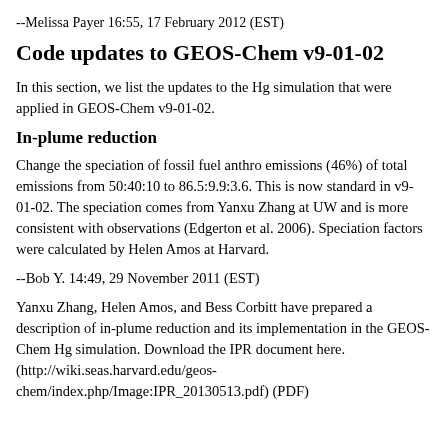--Melissa Payer 16:55, 17 February 2012 (EST)
Code updates to GEOS-Chem v9-01-02
In this section, we list the updates to the Hg simulation that were applied in GEOS-Chem v9-01-02.
In-plume reduction
Change the speciation of fossil fuel anthro emissions (46%) of total emissions from 50:40:10 to 86.5:9.9:3.6. This is now standard in v9-01-02. The speciation comes from Yanxu Zhang at UW and is more consistent with observations (Edgerton et al. 2006). Speciation factors were calculated by Helen Amos at Harvard.
--Bob Y. 14:49, 29 November 2011 (EST)
Yanxu Zhang, Helen Amos, and Bess Corbitt have prepared a description of in-plume reduction and its implementation in the GEOS-Chem Hg simulation. Download the IPR document here. (http://wiki.seas.harvard.edu/geos-chem/index.php/Image:IPR_20130513.pdf) (PDF)